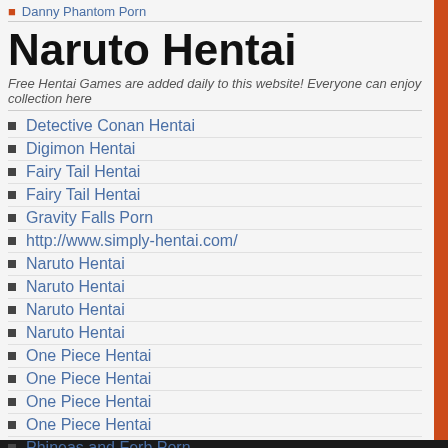Danny Phantom Porn
Naruto Hentai
Free Hentai Games are added daily to this website! Everyone can enjoy collection here
Detective Conan Hentai
Digimon Hentai
Fairy Tail Hentai
Fairy Tail Hentai
Gravity Falls Porn
http://www.simply-hentai.com/
Naruto Hentai
Naruto Hentai
Naruto Hentai
Naruto Hentai
One Piece Hentai
One Piece Hentai
One Piece Hentai
One Piece Hentai
Phineas and Ferb Porn
Pokemon Hentai
Pokemon Hentai
Pokemon Hentai
Pokemon Hentai
Pokemon Hentai